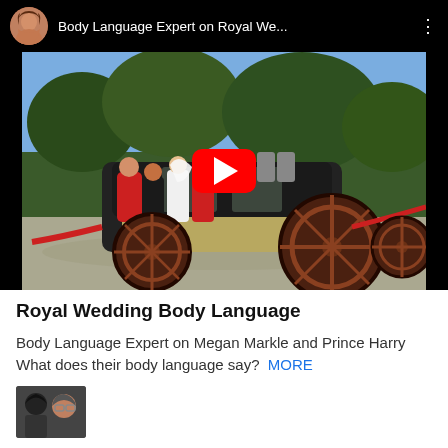[Figure (screenshot): YouTube video embed showing a Royal Wedding carriage scene with the title 'Body Language Expert on Royal We...' and a red play button overlay. A circular avatar of a woman appears in the top left of the video header.]
Royal Wedding Body Language
Body Language Expert on Megan Markle and Prince Harry What does their body language say?  MORE
[Figure (photo): Small thumbnail image of two people (a woman and a man with glasses) at the bottom left of the page.]